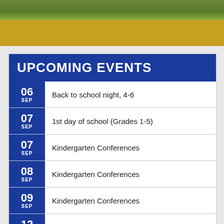[Figure (photo): Photo strip of outdoor scene with greenery]
UPCOMING EVENTS
06 SEP — Back to school night, 4-6
07 SEP — 1st day of school (Grades 1-5)
07 SEP — Kindergarten Conferences
08 SEP — Kindergarten Conferences
09 SEP — Kindergarten Conferences
12 SEP — 1st day of kindergarten